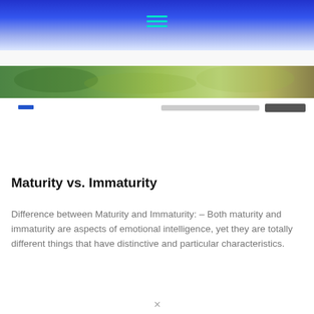[Figure (photo): Green and yellow textured banner image spanning the full width of the page]
Maturity vs. Immaturity
Difference between Maturity and Immaturity: – Both maturity and immaturity are aspects of emotional intelligence, yet they are totally different things that have distinctive and particular characteristics.